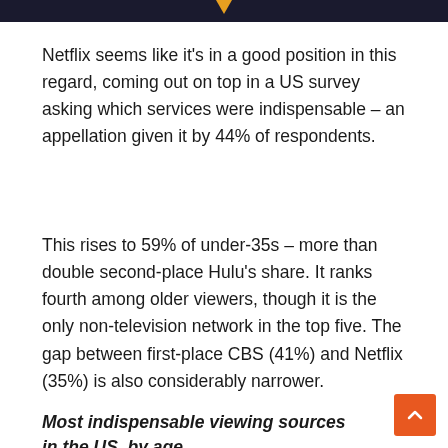Netflix seems like it's in a good position in this regard, coming out on top in a US survey asking which services were indispensable – an appellation given it by 44% of respondents.
This rises to 59% of under-35s – more than double second-place Hulu's share. It ranks fourth among older viewers, though it is the only non-television network in the top five. The gap between first-place CBS (41%) and Netflix (35%) is also considerably narrower.
Most indispensable viewing sources in the US, by age